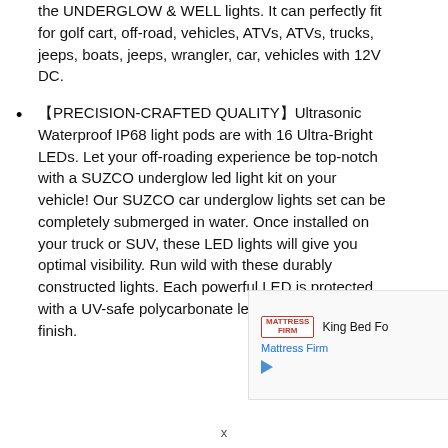the UNDERGLOW & WELL lights. It can perfectly fit for golf cart, off-road, vehicles, ATVs, ATVs, trucks, jeeps, boats, jeeps, wrangler, car, vehicles with 12V DC.
【PRECISION-CRAFTED QUALITY】Ultrasonic Waterproof IP68 light pods are with 16 Ultra-Bright LEDs. Let your off-roading experience be top-notch with a SUZCO underglow led light kit on your vehicle! Our SUZCO car underglow lights set can be completely submerged in water. Once installed on your truck or SUV, these LED lights will give you optimal visibility. Run wild with these durably constructed lights. Each powerful LED is protected with a UV-safe polycarbonate lens and anti-scratch finish.
[Figure (other): Advertisement banner for Mattress Firm showing logo, 'King Bed Fo...' text, 'Mattress Firm' link, and a play button triangle icon.]